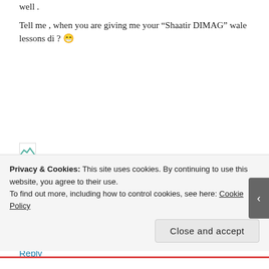well .
Tell me , when you are giving me your “Shaatir DIMAG” wale lessons di ? 😁
[Figure (other): Small avatar/image placeholder icon]
★ Like
Reply
Privacy & Cookies: This site uses cookies. By continuing to use this website, you agree to their use.
To find out more, including how to control cookies, see here: Cookie Policy
Close and accept